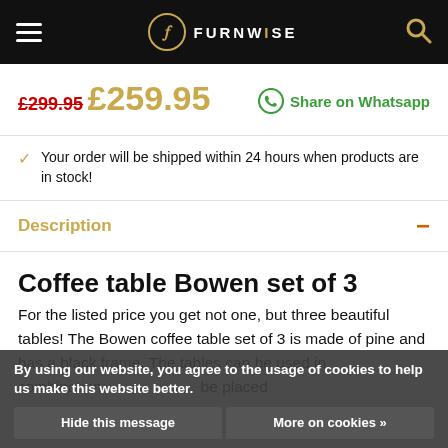FURNWISE
£299.95
£259.95
Share on Whatsapp
Your order will be shipped within 24 hours when products are in stock!
Description
Coffee table Bowen set of 3
For the listed price you get not one, but three beautiful tables! The Bowen coffee table set of 3 is made of pine and has a black frame. The tables can be used in combination ... be placed
By using our website, you agree to the usage of cookies to help us make this website better.